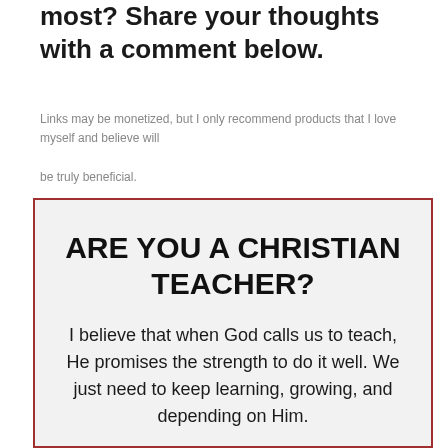most? Share your thoughts with a comment below.
Links may be monetized, but I only recommend products that I love myself and believe will be truly beneficial.
ARE YOU A CHRISTIAN TEACHER?

I believe that when God calls us to teach, He promises the strength to do it well. We just need to keep learning, growing, and depending on Him.